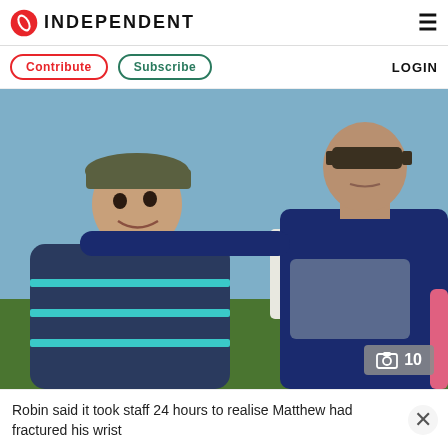INDEPENDENT
Contribute  Subscribe  LOGIN
[Figure (photo): Photo of a young boy wearing a cap and striped jacket, leaning against a taller man wearing sunglasses and a dark blue jacket, outdoors with green hills and blue sky in background. A camera icon with '10' indicates a photo gallery of 10 images.]
Robin said it took staff 24 hours to realise Matthew had fractured his wrist